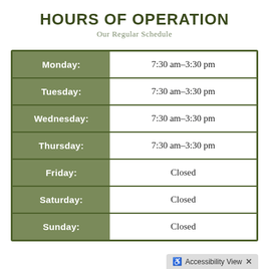HOURS OF OPERATION
Our Regular Schedule
| Day | Hours |
| --- | --- |
| Monday: | 7:30 am–3:30 pm |
| Tuesday: | 7:30 am–3:30 pm |
| Wednesday: | 7:30 am–3:30 pm |
| Thursday: | 7:30 am–3:30 pm |
| Friday: | Closed |
| Saturday: | Closed |
| Sunday: | Closed |
Accessibility View  ✕